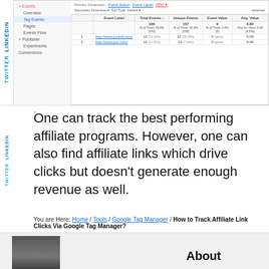[Figure (screenshot): Google Analytics Events report showing Tag Events data with sidebar navigation (Overview, Tag Events, Pages, Events Flow, Publisher, Experiments, Conversions), and a table with columns: Event Label, Total Events (166), Unique Events (157), Event Value (0), Avg. Value (0.00), with two rows showing URLs http://www.yournk.com/ and http://www.gun.com/ each with 12 events and value 0.09. Social share buttons for LinkedIn and Twitter visible on the left side.]
One can track the best performing affiliate programs. However, one can also find affiliate links which drive clicks but doesn't generate enough revenue as well.
You are Here: Home / Tools / Google Tag Manager / How to Track Affiliate Link Clicks Via Google Tag Manager?
About